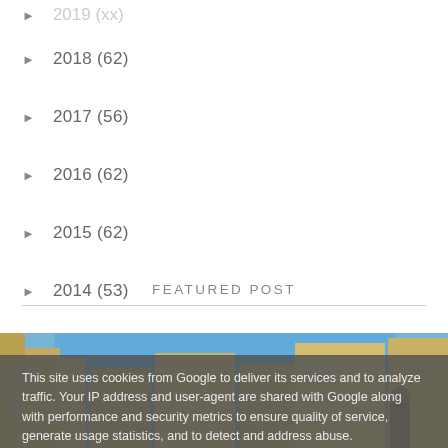► 2018 (62)
► 2017 (56)
► 2016 (62)
► 2015 (62)
► 2014 (53)
► 2013 (78)
FEATURED POST
[Figure (photo): Street scene with old stone buildings and blue sky visible between them]
This site uses cookies from Google to deliver its services and to analyze traffic. Your IP address and user-agent are shared with Google along with performance and security metrics to ensure quality of service, generate usage statistics, and to detect and address abuse.
LEARN MORE    OK